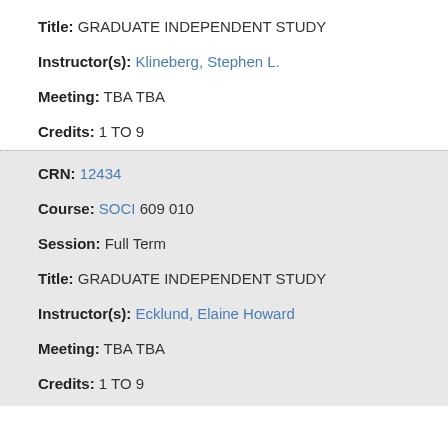Title: GRADUATE INDEPENDENT STUDY
Instructor(s): Klineberg, Stephen L.
Meeting: TBA TBA
Credits: 1 TO 9
CRN: 12434
Course: SOCI 609 010
Session: Full Term
Title: GRADUATE INDEPENDENT STUDY
Instructor(s): Ecklund, Elaine Howard
Meeting: TBA TBA
Credits: 1 TO 9